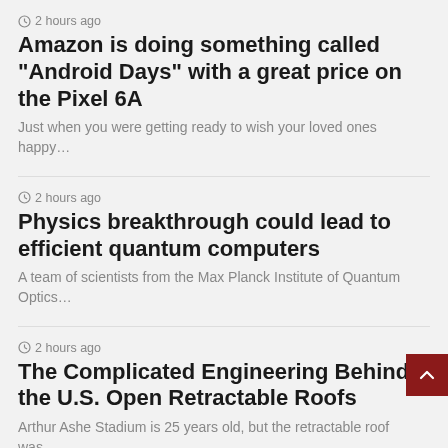2 hours ago
Amazon is doing something called “Android Days” with a great price on the Pixel 6A
Just when you were getting ready to wish your loved ones happy…
2 hours ago
Physics breakthrough could lead to efficient quantum computers
A team of scientists from the Max Planck Institute of Quantum Optics…
2 hours ago
The Complicated Engineering Behind the U.S. Open Retractable Roofs
Arthur Ashe Stadium is 25 years old, but the retractable roof was…
3 hours ago
HP’s new 4K business webcam uses AI to keep